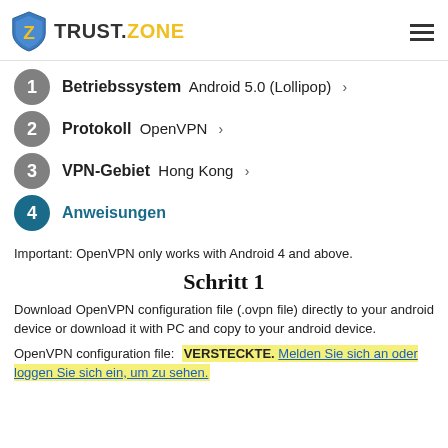TRUST.ZONE
1 Betriebssystem Android 5.0 (Lollipop) >
2 Protokoll OpenVPN >
3 VPN-Gebiet Hong Kong >
4 Anweisungen
Important: OpenVPN only works with Android 4 and above.
Schritt 1
Download OpenVPN configuration file (.ovpn file) directly to your android device or download it with PC and copy to your android device.
OpenVPN configuration file: VERSTECKTE. Melden Sie sich an oder loggen Sie sich ein, um zu sehen.